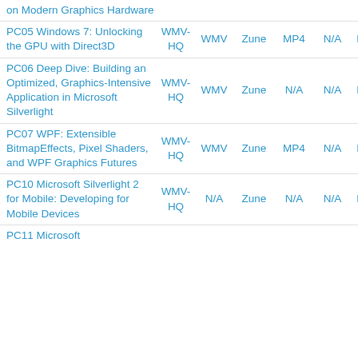| Title | WMV-HQ | WMV | Zune | MP4 | N/A | PPTX |
| --- | --- | --- | --- | --- | --- | --- |
| on Modern Graphics Hardware |  |  |  |  |  |  |
| PC05 Windows 7: Unlocking the GPU with Direct3D | WMV-HQ | WMV | Zune | MP4 | N/A | PPTX |
| PC06 Deep Dive: Building an Optimized, Graphics-Intensive Application in Microsoft Silverlight | WMV-HQ | WMV | Zune | N/A | N/A | PPTX |
| PC07 WPF: Extensible BitmapEffects, Pixel Shaders, and WPF Graphics Futures | WMV-HQ | WMV | Zune | MP4 | N/A | PPTX |
| PC10 Microsoft Silverlight 2 for Mobile: Developing for Mobile Devices | WMV-HQ | N/A | Zune | N/A | N/A | PPTX |
| PC11 Microsoft |  |  |  |  |  |  |